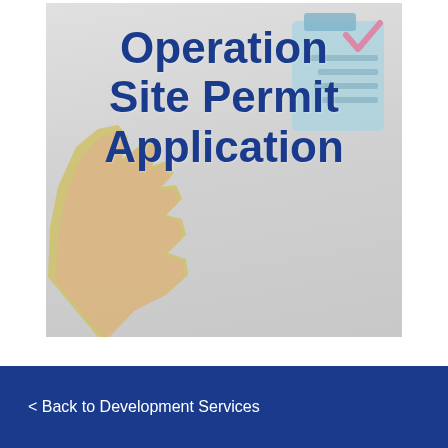[Figure (illustration): Cover image for an Operation Site Permit Application document. Shows bold dark blue text reading 'Operation Site Permit Application' overlaid on a light gray background with an illustrated hand (yellow/cream and skin-toned) pointing upward, and a clipboard with a pink checkmark in the upper right.]
Operation Site Permit Application
< Back to Development Services